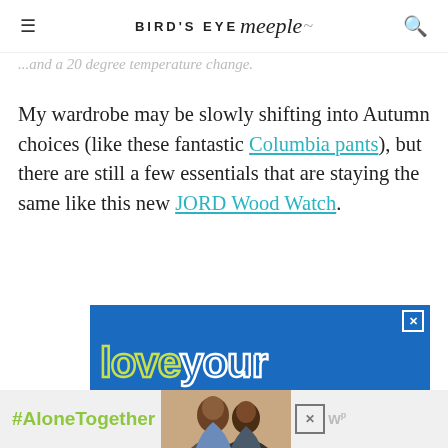BIRD'S EYE meeple
...and a 20 degree temperature change.
My wardrobe may be slowly shifting into Autumn choices (like these fantastic Columbia pants), but there are still a few essentials that are staying the same like this new JORD Wood Watch.
[Figure (infographic): Blue advertisement banner with stylized outlined text reading 'love your neighbor' in yellow-green and white on blue background]
[Figure (infographic): Bottom advertisement bar with #AloneTogether hashtag in green, photo of two people, close button, and logo]